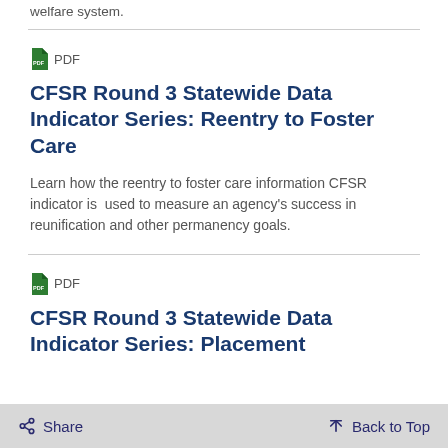welfare system.
CFSR Round 3 Statewide Data Indicator Series: Reentry to Foster Care
Learn how the reentry to foster care information CFSR indicator is used to measure an agency's success in reunification and other permanency goals.
CFSR Round 3 Statewide Data Indicator Series: Placement
Share  Back to Top